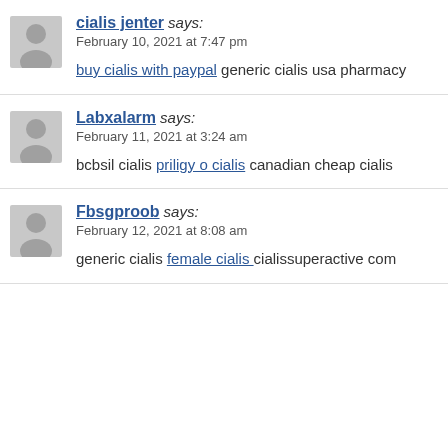cialis jenter says: February 10, 2021 at 7:47 pm — buy cialis with paypal generic cialis usa pharmacy
Labxalarm says: February 11, 2021 at 3:24 am — bcbsil cialis priligy o cialis canadian cheap cialis
Fbsgproob says: February 12, 2021 at 8:08 am — generic cialis female cialis cialissuperactive com